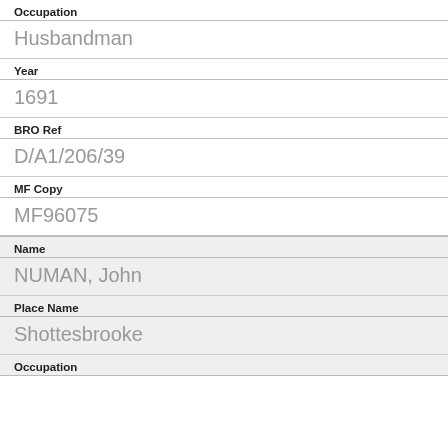Occupation
Husbandman
Year
1691
BRO Ref
D/A1/206/39
MF Copy
MF96075
Name
NUMAN, John
Place Name
Shottesbrooke
Occupation